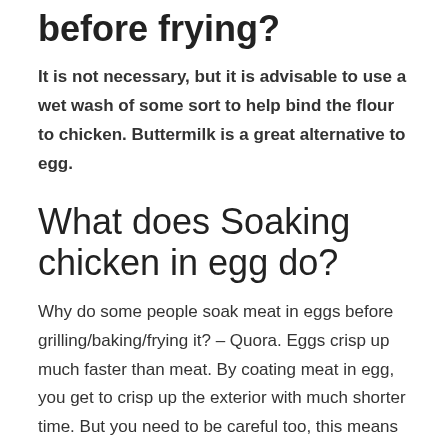before frying?
It is not necessary, but it is advisable to use a wet wash of some sort to help bind the flour to chicken. Buttermilk is a great alternative to egg.
What does Soaking chicken in egg do?
Why do some people soak meat in eggs before grilling/baking/frying it? – Quora. Eggs crisp up much faster than meat. By coating meat in egg, you get to crisp up the exterior with much shorter time. But you need to be careful too, this means the meat will burn much faster too
Do you use eggs to coat chicken?
Flour: The flour acts as a barrier between the fat in the pan and the